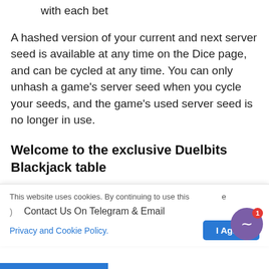with each bet
A hashed version of your current and next server seed is available at any time on the Dice page, and can be cycled at any time. You can only unhash a game’s server seed when you cycle your seeds, and the game’s used server seed is no longer in use.
Welcome to the exclusive Duelbits Blackjack table
The exclusive Duelbits Affiliates Program Live Blackjack table is now open and awaiting
This website uses cookies. By continuing to use this site e
Contact Us On Telegram & Email
Privacy and Cookie Policy.
I Agree